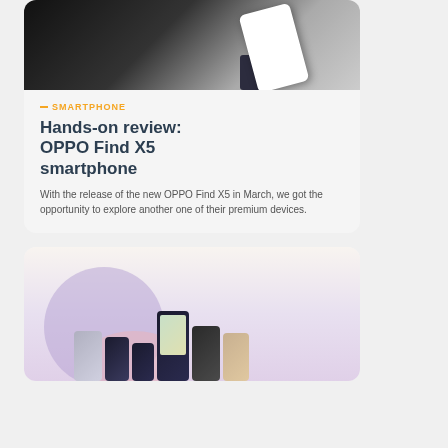[Figure (photo): OPPO Find X5 smartphone product photo on a stand against dark background]
SMARTPHONE
Hands-on review: OPPO Find X5 smartphone
With the release of the new OPPO Find X5 in March, we got the opportunity to explore another one of their premium devices.
[Figure (photo): Multiple Samsung Galaxy Z Flip smartphones in various colors arranged on purple and pink circular platforms]